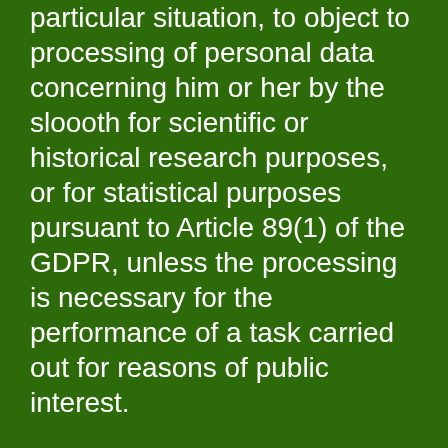particular situation, to object to processing of personal data concerning him or her by the sloooth for scientific or historical research purposes, or for statistical purposes pursuant to Article 89(1) of the GDPR, unless the processing is necessary for the performance of a task carried out for reasons of public interest.
In order to exercise the right to object, the data subject may contact any employee of the sloooth. In addition, the data subject is free in the context of the use of information society services, and notwithstanding Directive 2002/58/EC, to use his or her right to object by automated means using technical specifications.